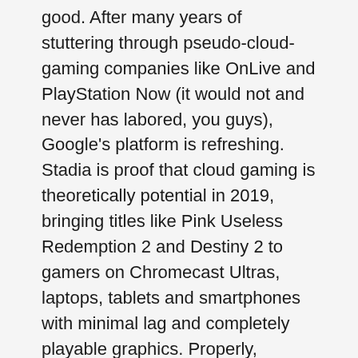good. After many years of stuttering through pseudo-cloud-gaming companies like OnLive and PlayStation Now (it would not and never has labored, you guys), Google's platform is refreshing. Stadia is proof that cloud gaming is theoretically potential in 2019, bringing titles like Pink Useless Redemption 2 and Destiny 2 to gamers on Chromecast Ultras, laptops, tablets and smartphones with minimal lag and completely playable graphics. Properly, underneath the fitting circumstances.